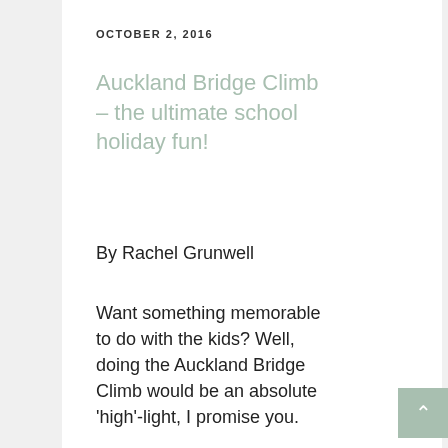OCTOBER 2, 2016
Auckland Bridge Climb – the ultimate school holiday fun!
By Rachel Grunwell
Want something memorable to do with the kids? Well, doing the Auckland Bridge Climb would be an absolute 'high'-light, I promise you.
It's an incredible adventure that can